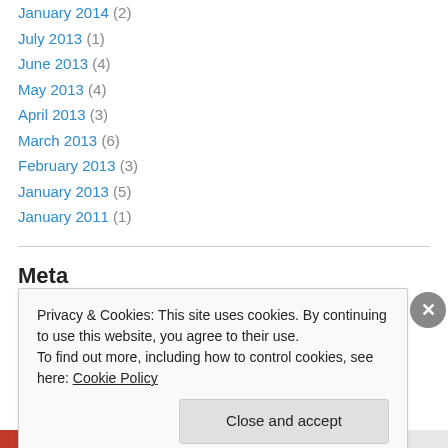January 2014 (2)
July 2013 (1)
June 2013 (4)
May 2013 (4)
April 2013 (3)
March 2013 (6)
February 2013 (3)
January 2013 (5)
January 2011 (1)
Meta
Register
Privacy & Cookies: This site uses cookies. By continuing to use this website, you agree to their use.
To find out more, including how to control cookies, see here: Cookie Policy
Close and accept